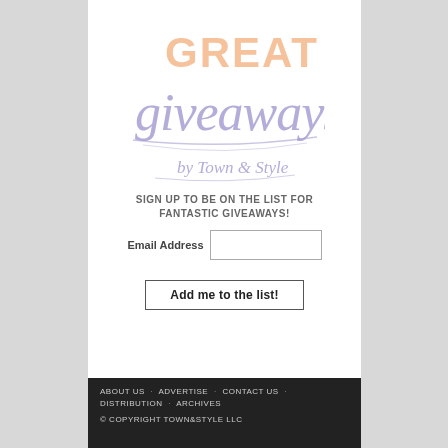[Figure (logo): Great Giveaways by Town & Style logo — 'GREAT' in peach/orange block letters, 'giveaways' in large purple cursive script, 'by Town & Style' in smaller purple cursive beneath, with decorative swash lines]
SIGN UP TO BE ON THE LIST FOR FANTASTIC GIVEAWAYS!
Email Address [input field]
Add me to the list!
ABOUT US · ADVERTISE · CONTACT US · DISTRIBUTION · ARCHIVES
© COPYRIGHT TOWN&STYLE LLC